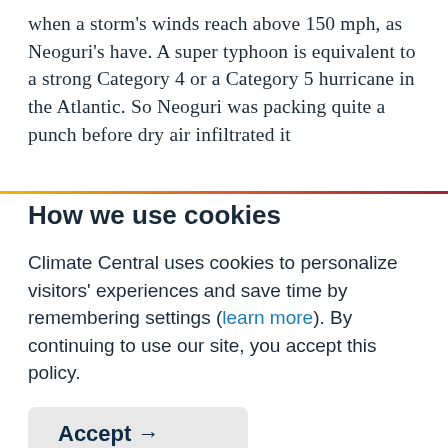when a storm's winds reach above 150 mph, as Neoguri's have. A super typhoon is equivalent to a strong Category 4 or a Category 5 hurricane in the Atlantic. So Neoguri was packing quite a punch before dry air infiltrated it
How we use cookies
Climate Central uses cookies to personalize visitors' experiences and save time by remembering settings (learn more). By continuing to use our site, you accept this policy.
Accept →